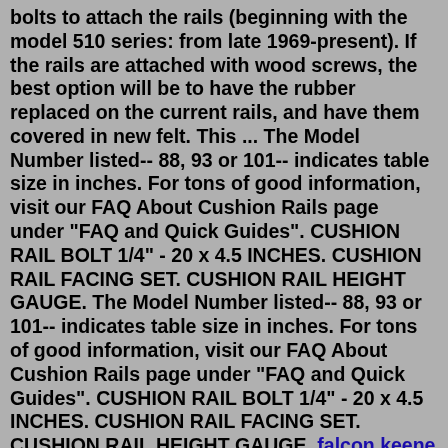bolts to attach the rails (beginning with the model 510 series: from late 1969-present). If the rails are attached with wood screws, the best option will be to have the rubber replaced on the current rails, and have them covered in new felt. This ... The Model Number listed-- 88, 93 or 101-- indicates table size in inches. For tons of good information, visit our FAQ About Cushion Rails page under "FAQ and Quick Guides". CUSHION RAIL BOLT 1/4" - 20 x 4.5 INCHES. CUSHION RAIL FACING SET. CUSHION RAIL HEIGHT GAUGE. The Model Number listed-- 88, 93 or 101-- indicates table size in inches. For tons of good information, visit our FAQ About Cushion Rails page under "FAQ and Quick Guides". CUSHION RAIL BOLT 1/4" - 20 x 4.5 INCHES. CUSHION RAIL FACING SET. CUSHION RAIL HEIGHT GAUGE. falcon keene Mar 27, 2018 · New Worsted Pool Table Cloth 7ft Table - Fast Billiard Felt w/ PRE-CUT RAILS. New. $93.95. Free shipping. 1312 sold. Spreading the staples too far apart may